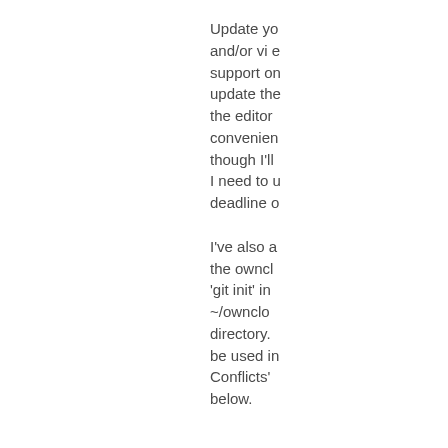Update yo and/or vi e support on update the the editor convenien though I'll I need to u deadline o
I've also a the owncl 'git init' in ~/ownclo directory. be used in Conflicts' below.